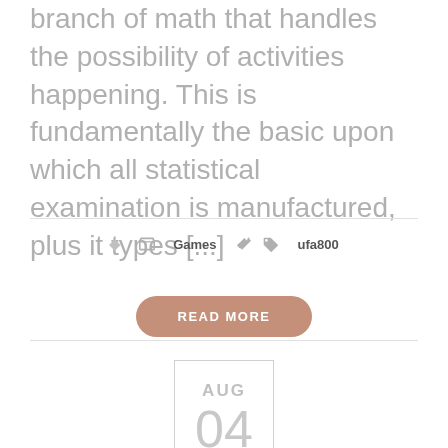branch of math that handles the possibility of activities happening. This is fundamentally the basic upon which all statistical examination is manufactured, plus it types [...]
Games   ufa800
READ MORE
AUG 04